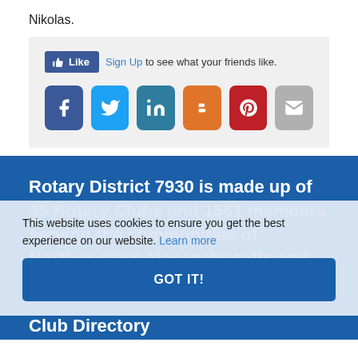Nikolas.
[Figure (screenshot): Facebook Like button widget and social sharing icon row (Facebook, Twitter, LinkedIn, Blogger, Pinterest, Email) on a grey background box.]
Rotary District 7930 is made up of 45 Rotary Clubs and 1561 members serving the communities of Northwestern Massachusetts and Salem, New Hampshire.
This website uses cookies to ensure you get the best experience on our website. Learn more
GOT IT!
Club Directory